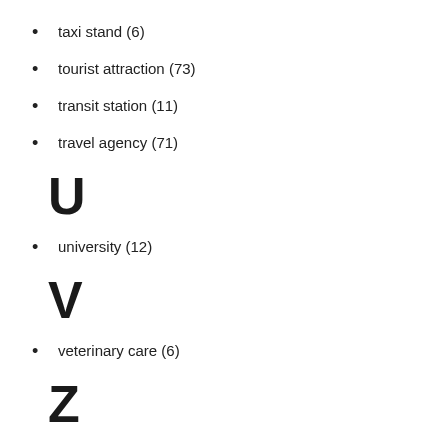taxi stand (6)
tourist attraction (73)
transit station (11)
travel agency (71)
U
university (12)
V
veterinary care (6)
Z
zoo (2)